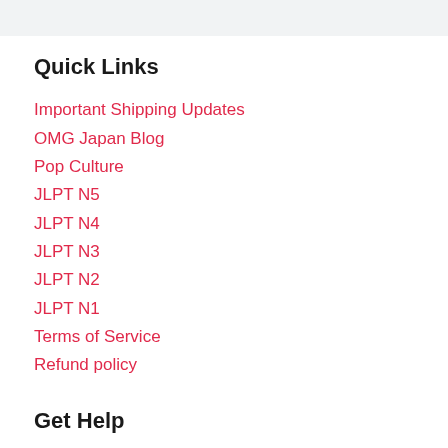Quick Links
Important Shipping Updates
OMG Japan Blog
Pop Culture
JLPT N5
JLPT N4
JLPT N3
JLPT N2
JLPT N1
Terms of Service
Refund policy
Get Help
About Us